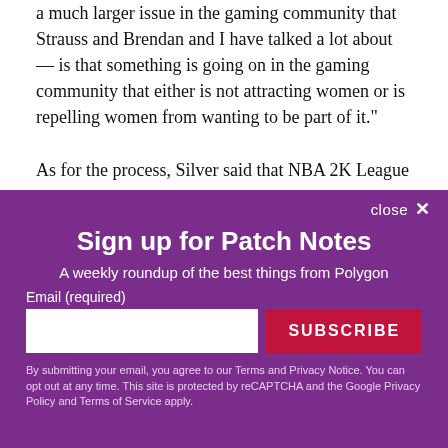a much larger issue in the gaming community that Strauss and Brendan and I have talked a lot about — is that something is going on in the gaming community that either is not attracting women or is repelling women from wanting to be part of it."

As for the process, Silver said that NBA 2K League
close ✕
Sign up for Patch Notes
A weekly roundup of the best things from Polygon
Email (required)
SUBSCRIBE
By submitting your email, you agree to our Terms and Privacy Notice. You can opt out at any time. This site is protected by reCAPTCHA and the Google Privacy Policy and Terms of Service apply.